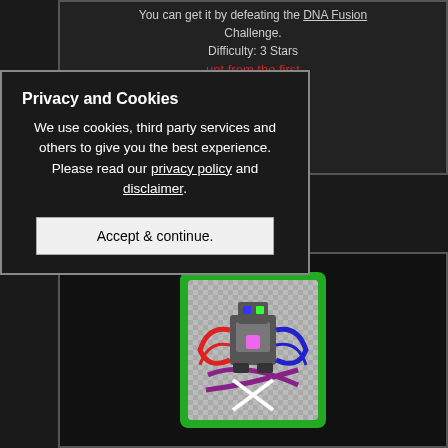You can get it by defeating the DNA Fusion Challenge.
Difficulty: 3 Stars
unt from the first for each jogress.
Privacy and Cookies
We use cookies, third party services and others to give you the best experience. Please read our privacy policy and disclaimer.
Accept & continue.
[Figure (screenshot): Pixel art style Digimon card with green border, showing a robot-like Digimon with red, blue and purple DNA-strand arms crossing in front of it on a grey checkered background]